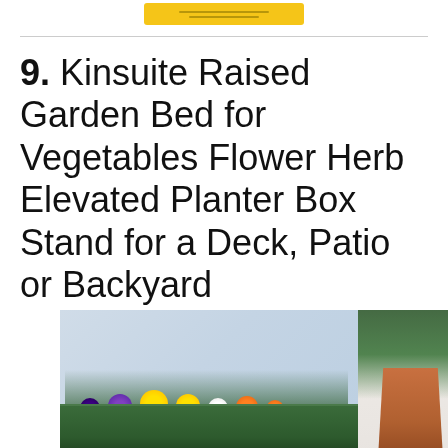[Figure (other): Yellow button/banner at top of page with horizontal lines]
9. Kinsuite Raised Garden Bed for Vegetables Flower Herb Elevated Planter Box Stand for a Deck, Patio or Backyard
[Figure (photo): Photo of a green rectangular raised garden planter box filled with colorful flowers including yellow, purple, white, and orange blooms, placed in front of a window with white trim. A terra cotta pot is visible on the right side with ivy/green plants.]